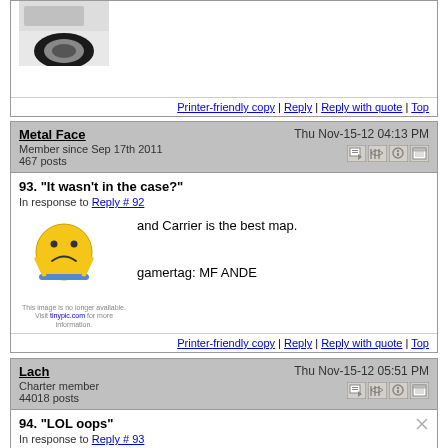[Figure (screenshot): Partial top of a forum post showing a tire/car image and footer links: Printer-friendly copy | Reply | Reply with quote | Top]
Printer-friendly copy | Reply | Reply with quote | Top
Metal Face
Member since Sep 17th 2011
467 posts
Thu Nov-15-12 04:13 PM
93. "It wasn't in the case?"
In response to Reply # 92
and Carrier is the best map.
gamertag: MF ANDE
Printer-friendly copy | Reply | Reply with quote | Top
Lach
Charter member
44018 posts
Thu Nov-15-12 05:51 PM
94. "LOL oops"
In response to Reply # 93